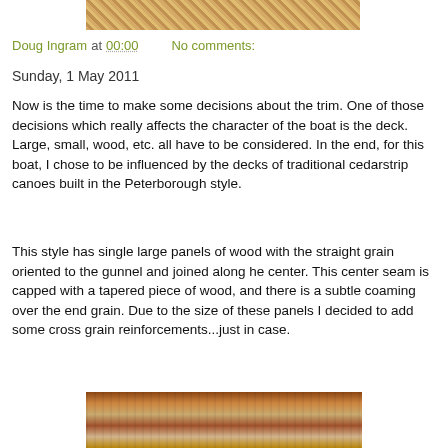[Figure (photo): Partial view of wooden boat deck or lumber, top of page]
Doug Ingram at 00:00    No comments:
Sunday, 1 May 2011
Now is the time to make some decisions about the trim.  One of those decisions which really affects the character of the boat is the deck.  Large, small, wood, etc. all have to be considered.  In the end, for this boat, I chose to be influenced by the decks of traditional cedarstrip canoes built in the Peterborough style.
This style has single large panels of wood with the straight grain oriented to the gunnel and joined along he center.  This center seam is capped with a tapered piece of wood, and there is a subtle coaming over the end grain. Due to the size of these panels I decided to add some cross grain reinforcements...just in case.
[Figure (photo): Wooden strips and workshop materials on a workbench, bottom of page]